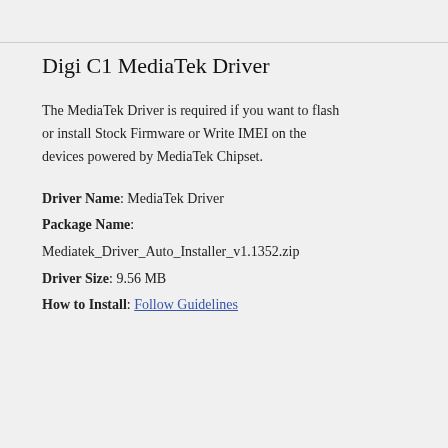Digi C1 MediaTek Driver
The MediaTek Driver is required if you want to flash or install Stock Firmware or Write IMEI on the devices powered by MediaTek Chipset.
Driver Name: MediaTek Driver
Package Name:
Mediatek_Driver_Auto_Installer_v1.1352.zip
Driver Size: 9.56 MB
How to Install: Follow Guidelines